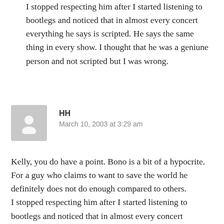I stopped respecting him after I started listening to bootlegs and noticed that in almost every concert everything he says is scripted. He says the same thing in every show. I thought that he was a geniune person and not scripted but I was wrong.
[Figure (illustration): Generic user avatar icon — grey rounded square with silhouette of a person]
HH
March 10, 2003 at 3:29 am
Kelly, you do have a point. Bono is a bit of a hypocrite. For a guy who claims to want to save the world he definitely does not do enough compared to others.
I stopped respecting him after I started listening to bootlegs and noticed that in almost every concert everything he says is scripted. He says the same thing in every show. I thought that he was a geniune person and